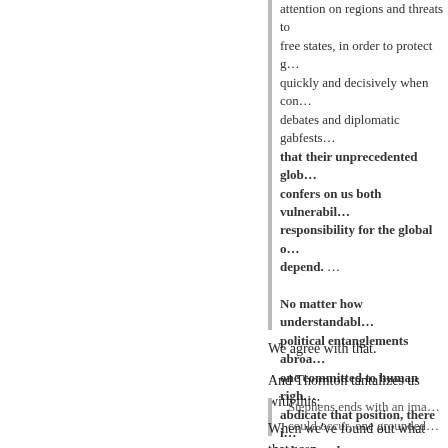attention on regions and threats to free states, in order to protect g… quickly and decisively when con… debates and diplomatic gabfests… that their unprecedented glob… confers on us both vulnerabil… responsibility for the global o… depend. …
No matter how understandabl… political entanglements abroa… one committed to human righ… abdicate that position, there i… take our place.
We agree with that.
And Thornton tantalizes us with this:
Stephens ends with an ima… could occur, one grounded…
When we've found out what that scen… return to this important subject.